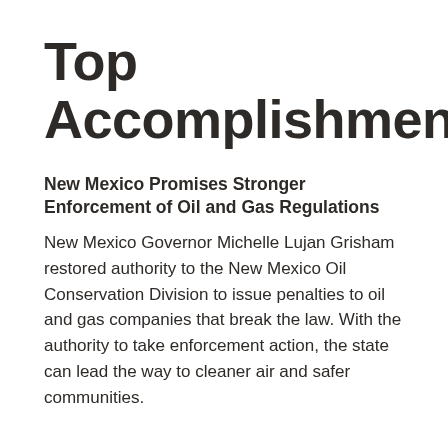Top Accomplishments
New Mexico Promises Stronger Enforcement of Oil and Gas Regulations
New Mexico Governor Michelle Lujan Grisham restored authority to the New Mexico Oil Conservation Division to issue penalties to oil and gas companies that break the law. With the authority to take enforcement action, the state can lead the way to cleaner air and safer communities.